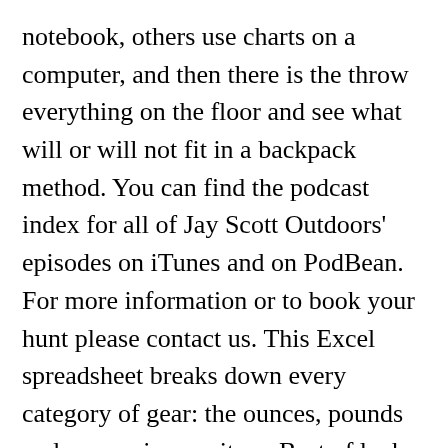notebook, others use charts on a computer, and then there is the throw everything on the floor and see what will or will not fit in a backpack method. You can find the podcast index for all of Jay Scott Outdoors' episodes on iTunes and on PodBean. For more information or to book your hunt please contact us. This Excel spreadsheet breaks down every category of gear: the ounces, pounds and even price per item. Best of luck to everyone this year. But I like to be prepared for a little more weather. Overall, this whole kit still weighs less than most two person tents. DIY Western Elk Hunt for $1,000 Budget in 2020. Ross Hammock Ranch is open on a